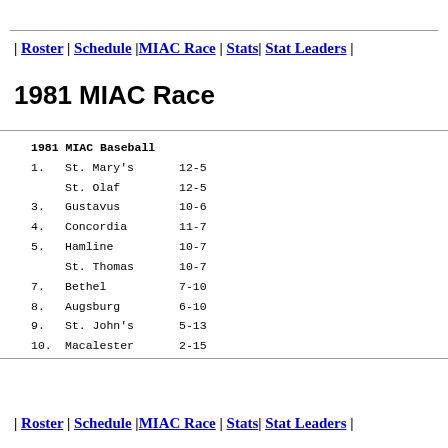| Roster | Schedule | MIAC Race | Stats | Stat Leaders |
1981 MIAC Race
| Rank | Team | Record |
| --- | --- | --- |
|  | 1981 MIAC Baseball |  |
| 1. | St. Mary's | 12-5 |
|  | St. Olaf | 12-5 |
| 3. | Gustavus | 10-6 |
| 4. | Concordia | 11-7 |
| 5. | Hamline | 10-7 |
|  | St. Thomas | 10-7 |
| 7. | Bethel | 7-10 |
| 8. | Augsburg | 6-10 |
| 9. | St. John's | 5-13 |
| 10. | Macalester | 2-15 |
| Roster | Schedule | MIAC Race | Stats | Stat Leaders |